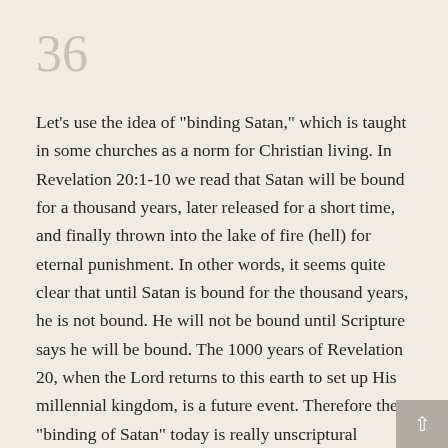36
Let's use the idea of "binding Satan," which is taught in some churches as a norm for Christian living. In Revelation 20:1-10 we read that Satan will be bound for a thousand years, later released for a short time, and finally thrown into the lake of fire (hell) for eternal punishment. In other words, it seems quite clear that until Satan is bound for the thousand years, he is not bound. He will not be bound until Scripture says he will be bound. The 1000 years of Revelation 20, when the Lord returns to this earth to set up His millennial kingdom, is a future event. Therefore the "binding of Satan" today is really unscriptural terminology and unscriptural practice, even though the intent may be for the glory of God. Christians who spiritualize the 1000 years of Revelation 20 to the